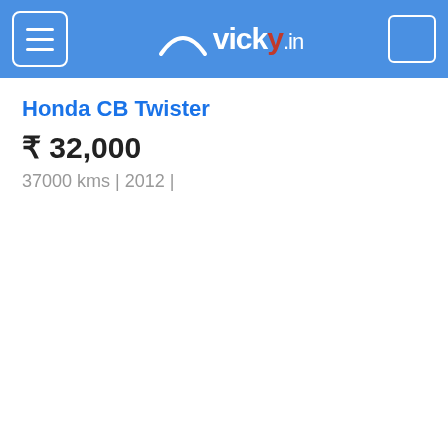vicky.in
Honda CB Twister
₹ 32,000
37000 kms | 2012 |
Yamaha FZ S
₹ 32,500
1550 kms | 2011 |